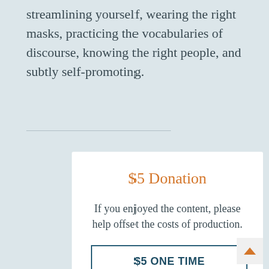streamlining yourself, wearing the right masks, practicing the vocabularies of discourse, knowing the right people, and subtly self-promoting.
$5 Donation
If you enjoyed the content, please help offset the costs of production.
$5 ONE TIME DONATION